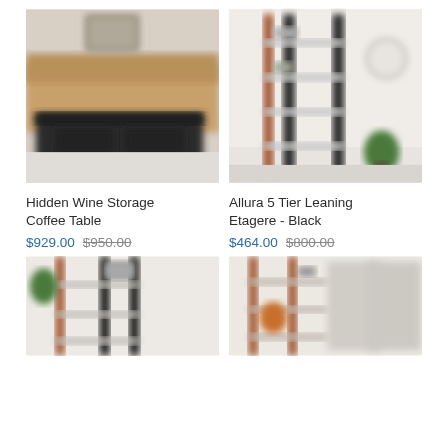[Figure (photo): Blurred photo of a dark wooden Hidden Wine Storage Coffee Table in a living room setting]
Hidden Wine Storage Coffee Table
$929.00 $950.00
[Figure (photo): Blurred photo of a black 5-tier leaning bookshelf etagere in a bright room]
Allura 5 Tier Leaning Etagere - Black
$464.00 $800.00
[Figure (photo): Blurred photo of a dark leaning shelving unit with plants in a room]
[Figure (photo): Blurred photo of a leaning shelf with decorative items in a room]